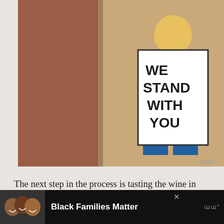[Figure (illustration): A painting/illustration showing figures holding signs that read 'WE STAND WITH YOU' and 'LIVES MATTER'. One figure wears a green shirt, there is a red background, and a brown hand visible at the right edge.]
The next step in the process is tasting the wine in order to determine its associated flavors. The flavors in a wine often, but not always, mimic the aromas. The ripeness of the flavors can assist in narrowing the area of origin. Under-ripe flavors such as green apple or sour cherry can be presumed to be associated with regions subject to cooler temperatures, whereas ripe flavors in a wine may indicate a warmer climate.
[Figure (photo): Advertisement banner: photo of three smiling children on dark background, with text 'Black Families Matter' in bold white/black text.]